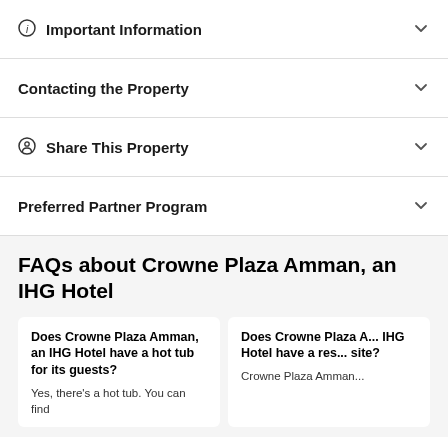Important Information
Contacting the Property
Share This Property
Preferred Partner Program
FAQs about Crowne Plaza Amman, an IHG Hotel
Does Crowne Plaza Amman, an IHG Hotel have a hot tub for its guests?
Yes, there's a hot tub. You can find
Does Crowne Plaza A... IHG Hotel have a res... site?
Crowne Plaza Amman...